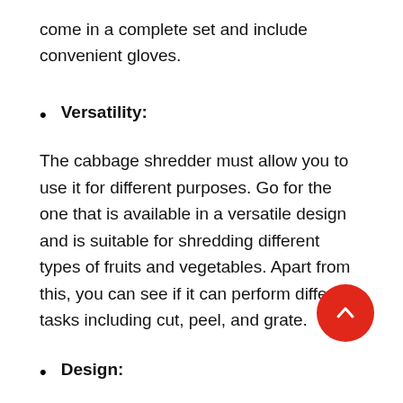come in a complete set and include convenient gloves.
Versatility:
The cabbage shredder must allow you to use it for different purposes. Go for the one that is available in a versatile design and is suitable for shredding different types of fruits and vegetables. Apart from this, you can see if it can perform different tasks including cut, peel, and grate.
Design:
Cabbage shredders can come in different types of designs and offer different functionality. Select